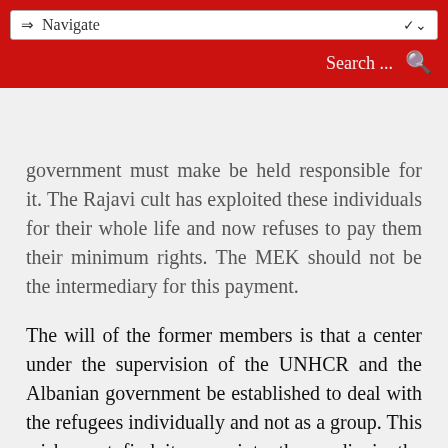⇒ Navigate   Search ...
government must make be held responsible for it. The Rajavi cult has exploited these individuals for their whole life and now refuses to pay them their minimum rights. The MEK should not be the intermediary for this payment.
The will of the former members is that a center under the supervision of the UNHCR and the Albanian government be established to deal with the refugees individually and not as a group. This wish must find its way into the media in the country. The former members can approach the UNHCR in Tirana and ask them why there is a breach of law and why their affairs have been left for the cult to deal with. They can give the